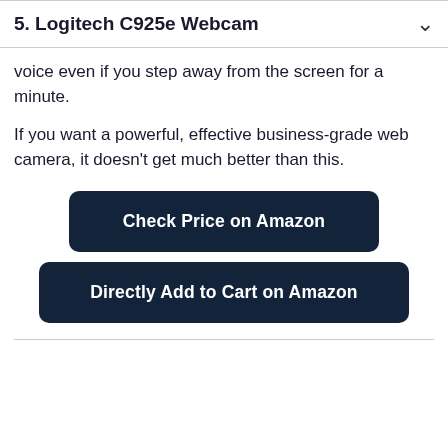5. Logitech C925e Webcam
voice even if you step away from the screen for a minute.
If you want a powerful, effective business-grade web camera, it doesn't get much better than this.
[Figure (other): Dark navy button labeled 'Check Price on Amazon']
[Figure (other): Dark navy button labeled 'Directly Add to Cart on Amazon']